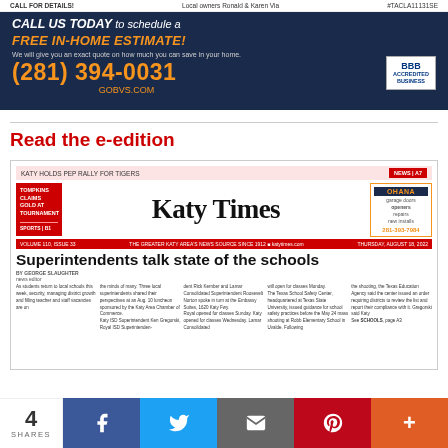[Figure (other): Advertisement for BVS (Blind/Vision Solutions or similar) with navy blue background. Text: 'CALL US TODAY to schedule a FREE IN-HOME ESTIMATE! We will give you an exact quote on how much you can save in your home. (281) 394-0031 GOBVS.COM'. BBB Accredited Business logo on right.]
Read the e-edition
[Figure (screenshot): Preview of Katy Times newspaper front page. Headline: 'Superintendents talk state of the schools'. Subheadings: 'KATY HOLDS PEP RALLY FOR TIGERS', 'TOMPKINS CLAIMS GOLD AT TOURNAMENT SPORTS | B1'. Volume info bar, date Thursday August 18 2022. Byline: BY GEORGE SLAUGHTER. Several columns of article text. Ohana Garage and Doors advertisement on right.]
[Figure (other): Social sharing bar at bottom: '4 SHARES' and buttons for Facebook, Twitter, Email, Pinterest, and More (+).]